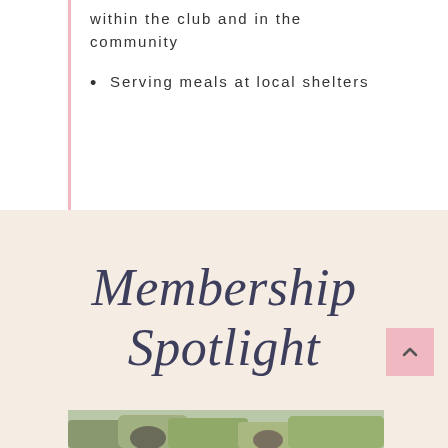within the club and in the community
Serving meals at local shelters
Membership Spotlight
[Figure (photo): Photo of people outdoors near trees]